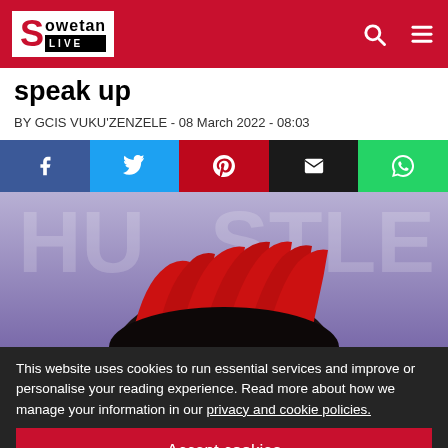Sowetan LIVE
speak up
BY GCIS VUKU'ZENZELE - 08 March 2022 - 08:03
[Figure (infographic): Social share buttons: Facebook, Twitter, Pinterest, Email, WhatsApp]
[Figure (photo): Close-up photo of a person with red braided hair against a purple background with partially visible text]
This website uses cookies to run essential services and improve or personalise your reading experience. Read more about how we manage your information in our privacy and cookie policies.
Accept cookies